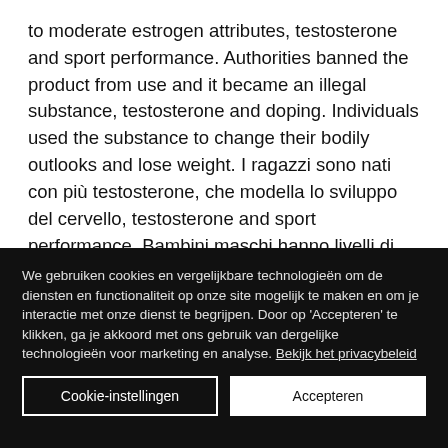to moderate estrogen attributes, testosterone and sport performance. Authorities banned the product from use and it became an illegal substance, testosterone and doping. Individuals used the substance to change their bodily outlooks and lose weight. I ragazzi sono nati con più testosterone, che modella lo sviluppo del cervello, testosterone and sport performance. Bambini maschi hanno livelli di testosterone pari a 25 anni gli uomini.
We gebruiken cookies en vergelijkbare technologieën om de diensten en functionaliteit op onze site mogelijk te maken en om je interactie met onze dienst te begrijpen. Door op 'Accepteren' te klikken, ga je akkoord met ons gebruik van dergelijke technologieën voor marketing en analyse. Bekijk het privacybeleid